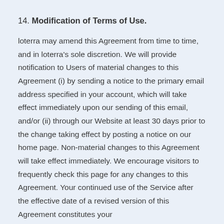14. Modification of Terms of Use.
loterra may amend this Agreement from time to time, and in loterra's sole discretion. We will provide notification to Users of material changes to this Agreement (i) by sending a notice to the primary email address specified in your account, which will take effect immediately upon our sending of this email, and/or (ii) through our Website at least 30 days prior to the change taking effect by posting a notice on our home page. Non-material changes to this Agreement will take effect immediately. We encourage visitors to frequently check this page for any changes to this Agreement. Your continued use of the Service after the effective date of a revised version of this Agreement constitutes your